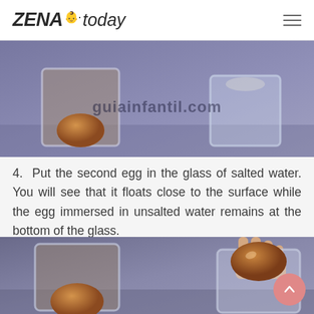ZENA today
[Figure (photo): Photo of two glasses with eggs, one with egg sunk at bottom (unsalted water) and one floating (salted water), with watermark guiainfantil.com]
4.  Put the second egg in the glass of salted water. You will see that it floats close to the surface while the egg immersed in unsalted water remains at the bottom of the glass.
[Figure (photo): Photo of two glasses of water with eggs showing floating vs sinking experiment, hand placing egg in salted water glass]